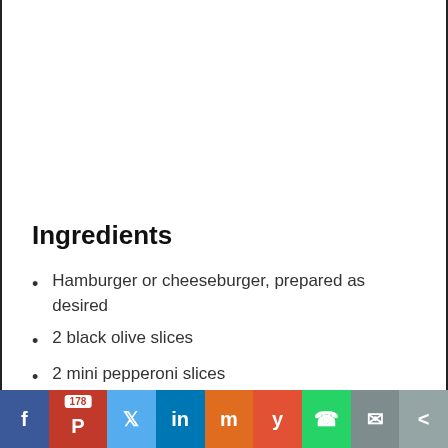Ingredients
Hamburger or cheeseburger, prepared as desired
2 black olive slices
2 mini pepperoni slices
1 tablespoon melted black candy wafers or chocolate chips
2 Purple Crispy Corn Snacks (partial, cut off)